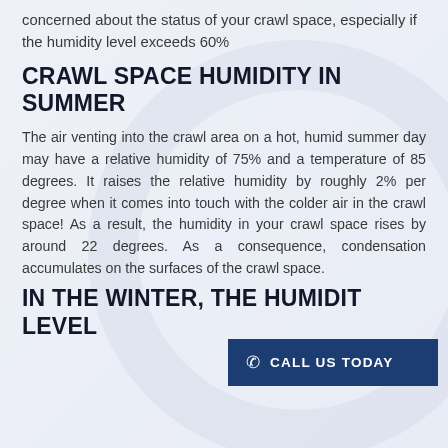concerned about the status of your crawl space, especially if the humidity level exceeds 60%
CRAWL SPACE HUMIDITY IN SUMMER
The air venting into the crawl area on a hot, humid summer day may have a relative humidity of 75% and a temperature of 85 degrees. It raises the relative humidity by roughly 2% per degree when it comes into touch with the colder air in the crawl space! As a result, the humidity in your crawl space rises by around 22 degrees. As a consequence, condensation accumulates on the surfaces of the crawl space.
[Figure (other): Call Us Today button with phone icon, dark navy blue background]
IN THE WINTER, THE HUMIDITY LEVEL